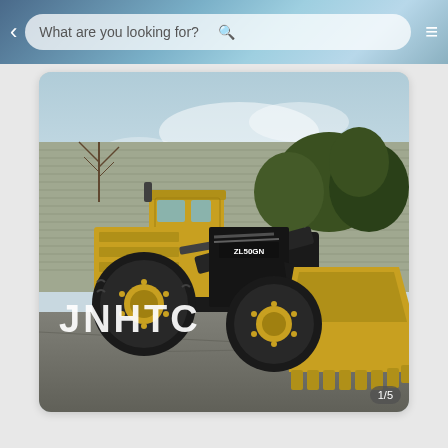What are you looking for?
[Figure (photo): A yellow JNHTC ZL50GN wheel loader / front-end loader with a large bucket attachment, parked on a paved surface in front of trees and a corrugated metal building. The JNHTC brand name is overlaid in white text on the image.]
1/5